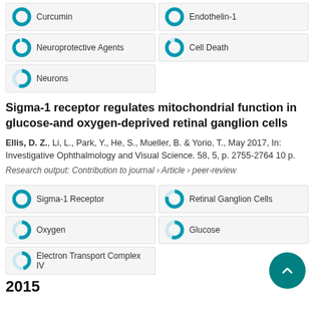Curcumin
Endothelin-1
Neuroprotective Agents
Cell Death
Neurons
Sigma-1 receptor regulates mitochondrial function in glucose-and oxygen-deprived retinal ganglion cells
Ellis, D. Z., Li, L., Park, Y., He, S., Mueller, B. & Yorio, T., May 2017, In: Investigative Ophthalmology and Visual Science. 58, 5, p. 2755-2764 10 p.
Research output: Contribution to journal › Article › peer-review
Sigma-1 Receptor
Retinal Ganglion Cells
Oxygen
Glucose
Electron Transport Complex IV
2015